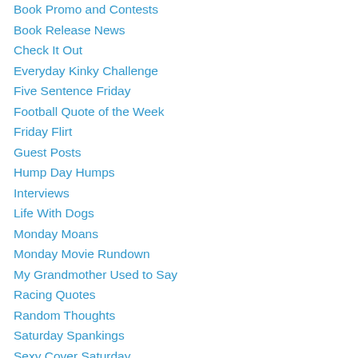Book Promo and Contests
Book Release News
Check It Out
Everyday Kinky Challenge
Five Sentence Friday
Football Quote of the Week
Friday Flirt
Guest Posts
Hump Day Humps
Interviews
Life With Dogs
Monday Moans
Monday Movie Rundown
My Grandmother Used to Say
Racing Quotes
Random Thoughts
Saturday Spankings
Sexy Cover Saturday
Sexy Snippet Saturday
Smut Sunday